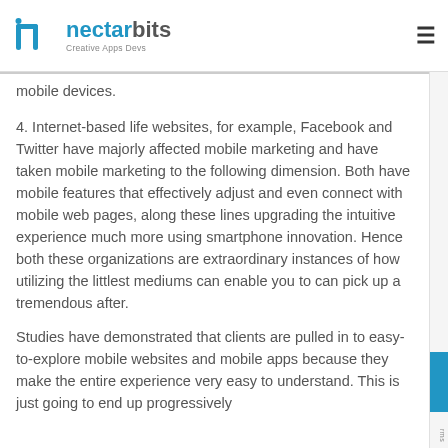nectarbits Creative Apps Devs
mobile devices.
4. Internet-based life websites, for example, Facebook and Twitter have majorly affected mobile marketing and have taken mobile marketing to the following dimension. Both have mobile features that effectively adjust and even connect with mobile web pages, along these lines upgrading the intuitive experience much more using smartphone innovation. Hence both these organizations are extraordinary instances of how utilizing the littlest mediums can enable you to can pick up a tremendous after.
Studies have demonstrated that clients are pulled in to easy-to-explore mobile websites and mobile apps because they make the entire experience very easy to understand. This is just going to end up progressively